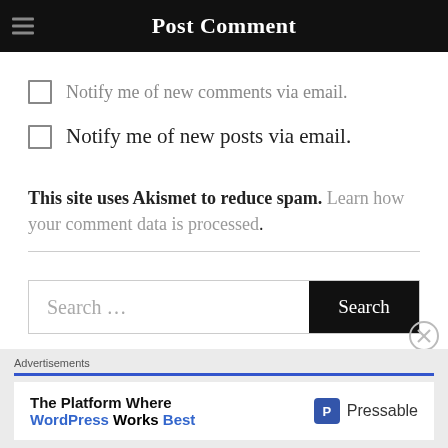Post Comment
Notify me of new comments via email.
Notify me of new posts via email.
This site uses Akismet to reduce spam. Learn how your comment data is processed.
Search ...
Advertisements
The Platform Where WordPress Works Best   Pressable